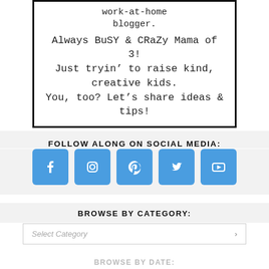[Figure (screenshot): Blog sidebar widget showing text: 'work-at-home blogger. Always BuSY & CRaZy Mama of 3! Just tryin' to raise kind, creative kids. You, too? Let's share ideas & tips!' with a circular profile photo, inside a thick black border box.]
FOLLOW ALONG ON SOCIAL MEDIA:
[Figure (infographic): Five blue social media icon buttons: Facebook, Instagram, Pinterest, Twitter, YouTube]
BROWSE BY CATEGORY:
Select Category
BROWSE BY DATE: